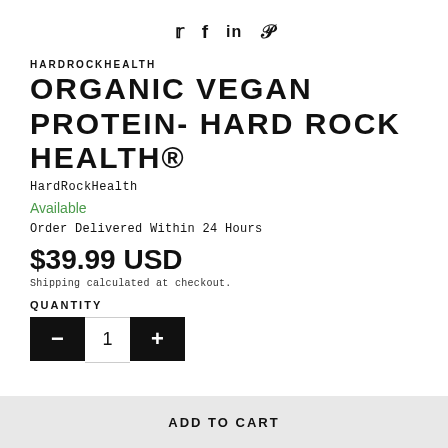[Figure (other): Social media share icons: Twitter, Facebook, LinkedIn, Pinterest]
HARDROCKHEALTH
ORGANIC VEGAN PROTEIN- HARD ROCK HEALTH®
HardRockHealth
Available
Order Delivered Within 24 Hours
$39.99 USD
Shipping calculated at checkout.
QUANTITY
ADD TO CART